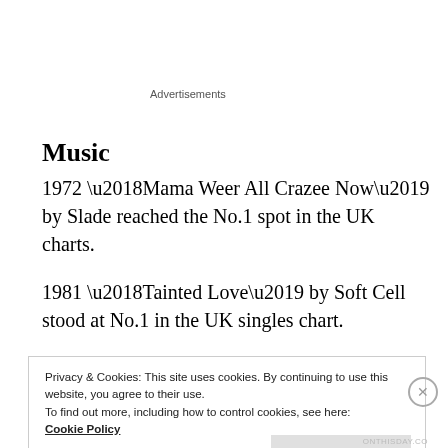Advertisements
Music
1972 ‘Mama Weer All Crazee Now’ by Slade reached the No.1 spot in the UK charts.
1981 ‘Tainted Love’ by Soft Cell stood at No.1 in the UK singles chart.
Privacy & Cookies: This site uses cookies. By continuing to use this website, you agree to their use.
To find out more, including how to control cookies, see here:
Cookie Policy
Close and accept